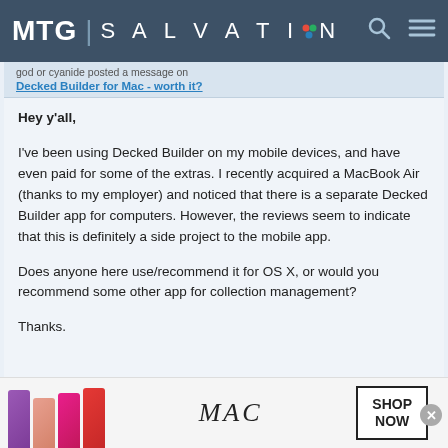MTG | SALVATION
god or cyanide posted a message on
Decked Builder for Mac - worth it?
Hey y'all,
I've been using Decked Builder on my mobile devices, and have even paid for some of the extras. I recently acquired a MacBook Air (thanks to my employer) and noticed that there is a separate Decked Builder app for computers. However, the reviews seem to indicate that this is definitely a side project to the mobile app.
Does anyone here use/recommend it for OS X, or would you recommend some other app for collection management?
Thanks.
[Figure (photo): MAC lipstick advertisement banner with purple, peach, pink and red lipsticks and 'SHOP NOW' call to action button]